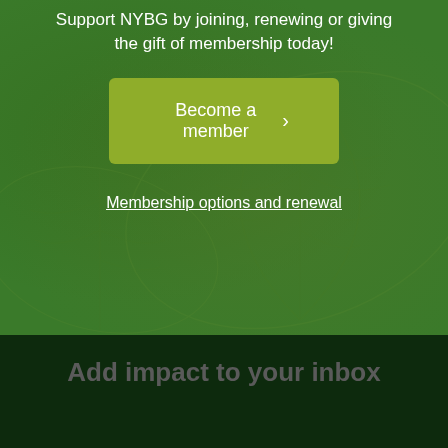Support NYBG by joining, renewing or giving the gift of membership today!
Become a member ›
Membership options and renewal
Add impact to your inbox